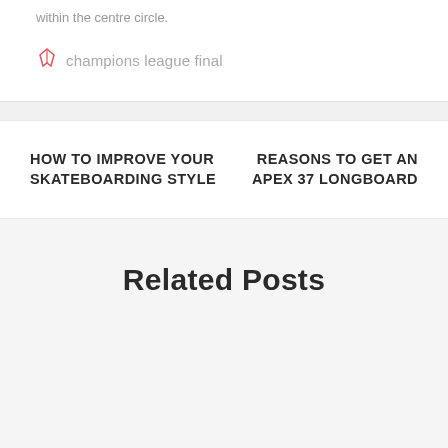within the centre circle.
champions league final
HOW TO IMPROVE YOUR SKATEBOARDING STYLE
REASONS TO GET AN APEX 37 LONGBOARD
Related Posts